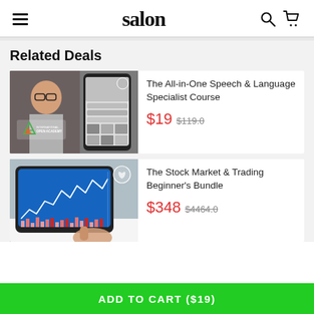salon
Related Deals
[Figure (photo): Product image for The All-in-One Speech & Language Specialist Course showing a woman with glasses and a smartphone with International Open Academy branding]
The All-in-One Speech & Language Specialist Course
$19 $119.0
[Figure (photo): Product image for The Stock Market & Trading Beginner's Bundle showing hands holding a tablet with stock market charts]
The Stock Market & Trading Beginner's Bundle
$348 $4464.0
ADD TO CART ($19)